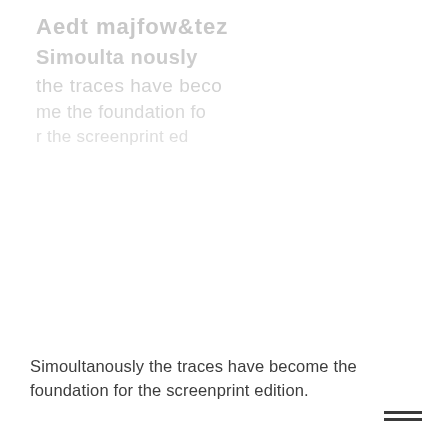[Figure (photo): Faded/ghosted handwritten or printed text forming a background image in the upper portion of the page, appearing in light gray tones.]
Simoultanously the traces have become the foundation for the screenprint edition.